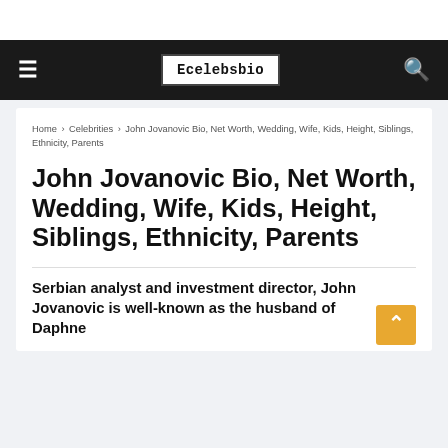Ecelebsbio
Home › Celebrities › John Jovanovic Bio, Net Worth, Wedding, Wife, Kids, Height, Siblings, Ethnicity, Parents
John Jovanovic Bio, Net Worth, Wedding, Wife, Kids, Height, Siblings, Ethnicity, Parents
Serbian analyst and investment director, John Jovanovic is well-known as the husband of Daphne